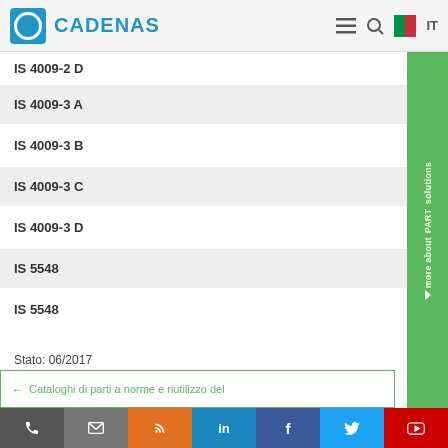CADENAS IT
IS 4009-2 D
IS 4009-3 A
IS 4009-3 B
IS 4009-3 C
IS 4009-3 D
IS 5548
IS 5548
Stato: 06/2017
Cataloghi di parti a norme e riutilizzo del
phone | email | rss | linkedin | facebook | twitter | youtube